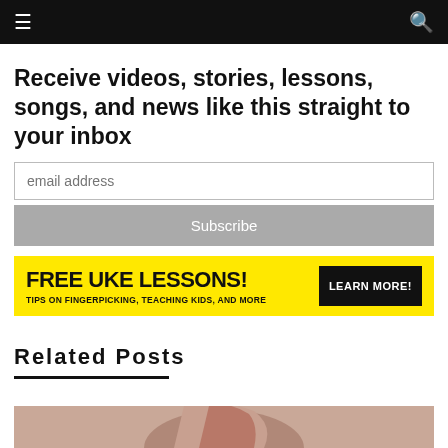≡  🔍
Receive videos, stories, lessons, songs, and news like this straight to your inbox
email address
Subscribe
[Figure (infographic): Yellow advertisement banner reading FREE UKE LESSONS! TIPS ON FINGERPICKING, TEACHING KIDS, AND MORE with a black LEARN MORE! button]
Related Posts
[Figure (photo): Partial photo of a person with red/auburn hair at the bottom of the page]